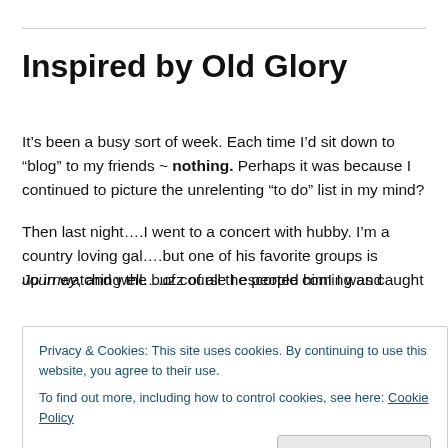Inspired by Old Glory
It’s been a busy sort of week. Each time I’d sit down to “blog” to my friends ~ nothing. Perhaps it was because I continued to picture the unrelenting “to do” list in my mind?
Then last night….I went to a concert with hubby. I’m a country loving gal….but one of his favorite groups is Journey, and well….of course I escorted him! I was caught up in watching the buzz of all the people coming and
Privacy & Cookies: This site uses cookies. By continuing to use this website, you agree to their use.
To find out more, including how to control cookies, see here: Cookie Policy
unfamiliar rendition.   The Star Spangled Banner as